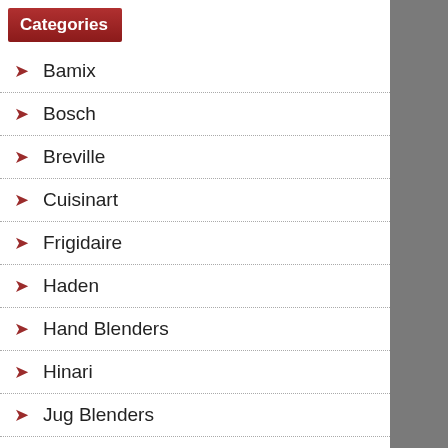Categories
Bamix
Bosch
Breville
Cuisinart
Frigidaire
Haden
Hand Blenders
Hinari
Jug Blenders